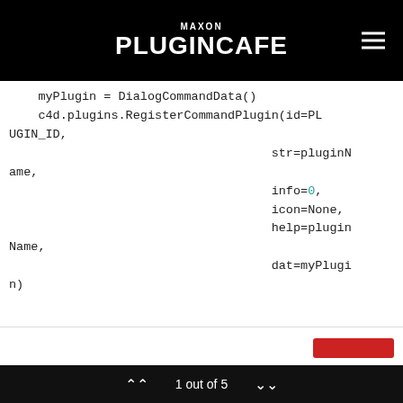MAXON PLUGINCAFE
myPlugin = DialogCommandData()
    c4d.plugins.RegisterCommandPlugin(id=PLUGIN_ID,
                                        str=pluginName,
                                        info=0,
                                        icon=None,
                                        help=pluginName,
                                        dat=myPlugin)
1 out of 5